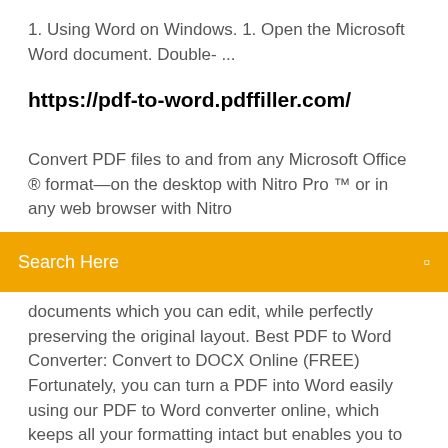1. Using Word on Windows. 1. Open the Microsoft Word document. Double- ...
https://pdf-to-word.pdffiller.com/
Convert PDF files to and from any Microsoft Office ® format—on the desktop with Nitro Pro ™ or in any web browser with Nitro
Search Here
documents which you can edit, while perfectly preserving the original layout. Best PDF to Word Converter: Convert to DOCX Online (FREE) Fortunately, you can turn a PDF into Word easily using our PDF to Word converter online, which keeps all your formatting intact but enables you to make changes to text and other elements in the .docx format. Then, when you're ready to resave your file as a PDF, you can use our Word to PDF converter to turn your Word document back into a PDF in seconds. Free Word to PDF Creator. Best PDF online creation. Convert your Word documents to PDF. The most accurate